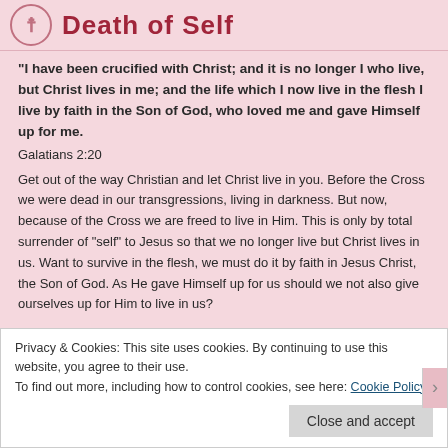Death of Self
“I have been crucified with Christ; and it is no longer I who live, but Christ lives in me; and the life which I now live in the flesh I live by faith in the Son of God, who loved me and gave Himself up for me.
Galatians 2:20
Get out of the way Christian and let Christ live in you. Before the Cross we were dead in our transgressions, living in darkness. But now, because of the Cross we are freed to live in Him. This is only by total surrender of “self” to Jesus so that we no longer live but Christ lives in us. Want to survive in the flesh, we must do it by faith in Jesus Christ, the Son of God. As He gave Himself up for us should we not also give ourselves up for Him to live in us?
Privacy & Cookies: This site uses cookies. By continuing to use this website, you agree to their use.
To find out more, including how to control cookies, see here: Cookie Policy
Close and accept